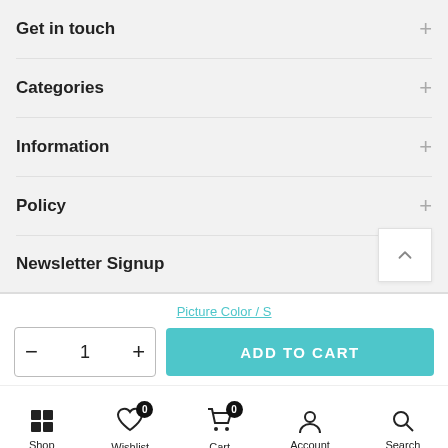Get in touch
Categories
Information
Policy
Newsletter Signup
Picture Color / S
- 1 + ADD TO CART
Shop  Wishlist  Cart  Account  Search